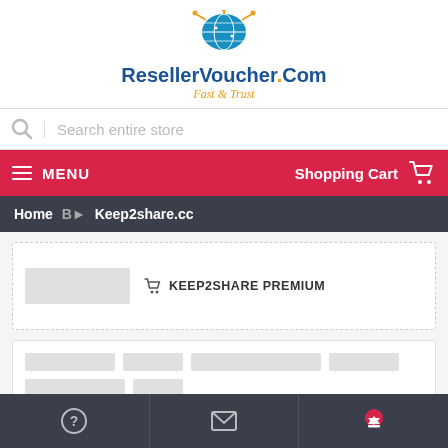[Figure (logo): ResellerVoucher.Com logo with globe icon and tagline 'Fast & Trust']
Search entire store
MENU  Shopping Cart
Home &#1042;&#9658; Keep2share.cc
KEEP2SHARE PREMIUM
[Figure (screenshot): Product listing area with gray placeholder content]
Footer navigation with help, mail, and download icons